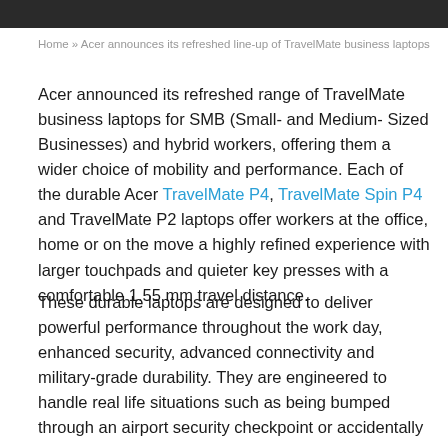[Figure (photo): Dark photograph strip at top of page]
Home » Acer announces its refreshed line-up of TravelMate business laptops
Acer announced its refreshed range of TravelMate business laptops for SMB (Small- and Medium- Sized Businesses) and hybrid workers, offering them a wider choice of mobility and performance. Each of the durable Acer TravelMate P4, TravelMate Spin P4 and TravelMate P2 laptops offer workers at the office, home or on the move a highly refined experience with larger touchpads and quieter key presses with a comfortable 1.55 mm travel distance.
These durable laptops are designed to deliver powerful performance throughout the work day, enhanced security, advanced connectivity and military-grade durability. They are engineered to handle real life situations such as being bumped through an airport security checkpoint or accidentally